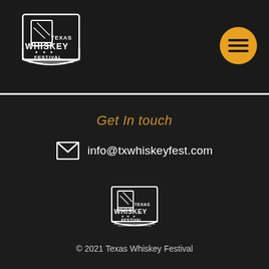[Figure (logo): Texas Whiskey Festival logo - white on dark background, top left header]
[Figure (logo): Hamburger menu icon - three horizontal lines on amber/gold circle, top right header]
Get In touch
info@txwhiskeyfest.com
[Figure (logo): Texas Whiskey Festival logo - white outline, smaller, footer area]
© 2021 Texas Whiskey Festival